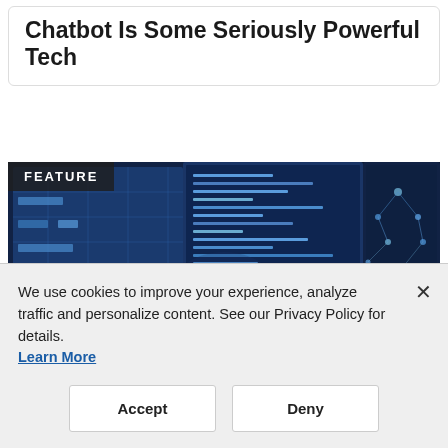Chatbot Is Some Seriously Powerful Tech
[Figure (photo): A person sitting in front of multiple large monitors displaying blue-toned data and network screens in a dark control room, viewed from behind. A 'FEATURE' badge is overlaid in the top-left corner.]
We use cookies to improve your experience, analyze traffic and personalize content. See our Privacy Policy for details. Learn More
Accept
Deny